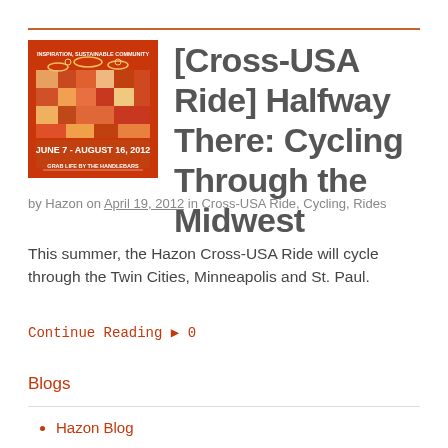[Figure (illustration): Cross-USA Ride logo/poster with colorful patchwork map of USA, dates JUNE 7 - AUGUST 16, 2012, taglines INSPIRATION, SUSTAINABLE COMMUNITY and GRAB LIFE BY THE HANDLEBARS]
[Cross-USA Ride] Halfway There: Cycling Through the Midwest
by Hazon on April 19, 2012 in Cross-USA Ride, Cycling, Rides
This summer, the Hazon Cross-USA Ride will cycle through the Twin Cities, Minneapolis and St. Paul.
Continue Reading ▶ 0
Blogs
Hazon Blog